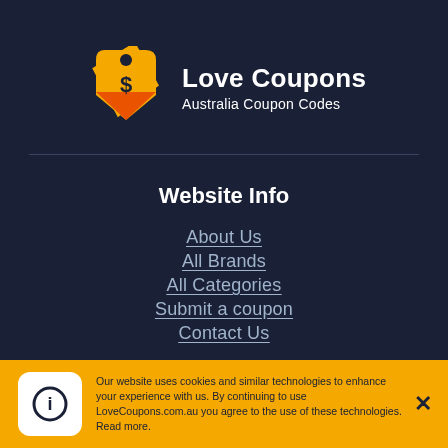[Figure (logo): Love Coupons logo: orange/red price tag shape with dollar sign icon, followed by bold white text 'Love Coupons' and subtitle 'Australia Coupon Codes']
Website Info
About Us
All Brands
All Categories
Submit a coupon
Contact Us
Our website uses cookies and similar technologies to enhance your experience with us. By continuing to use LoveCoupons.com.au you agree to the use of these technologies. Read more.